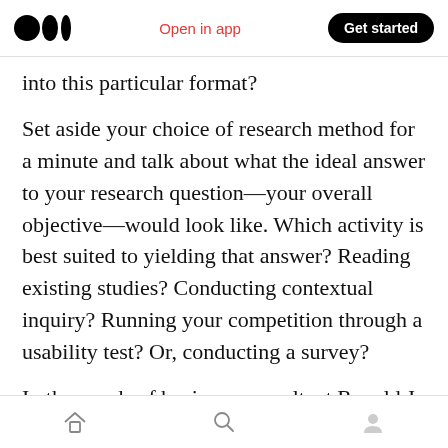Open in app | Get started
into this particular format?
Set aside your choice of research method for a minute and talk about what the ideal answer to your research question—your overall objective—would look like. Which activity is best suited to yielding that answer? Reading existing studies? Conducting contextual inquiry? Running your competition through a usability test? Or, conducting a survey?
In the words of business consultant Ronald J. Baker, don't stick a ruler in the oven to check the
home | search | profile